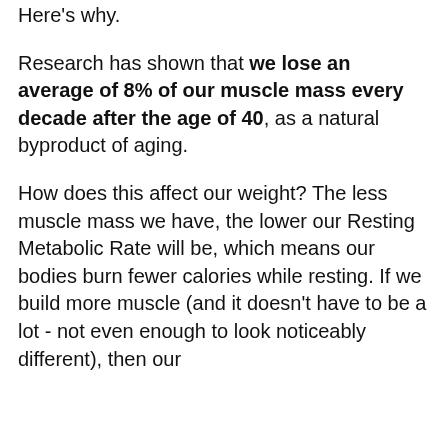Here's why.
Research has shown that we lose an average of 8% of our muscle mass every decade after the age of 40, as a natural byproduct of aging.
How does this affect our weight? The less muscle mass we have, the lower our Resting Metabolic Rate will be, which means our bodies burn fewer calories while resting. If we build more muscle (and it doesn't have to be a lot - not even enough to look noticeably different), then our